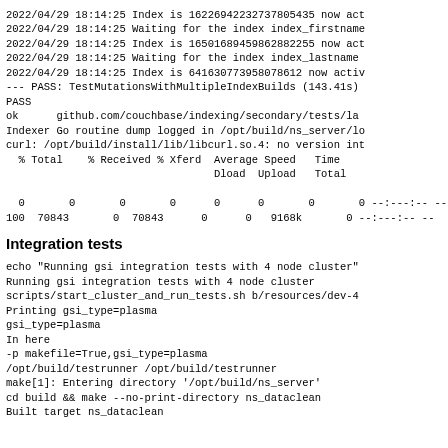2022/04/29 18:14:25 Index is 16226942232737805435 now act
2022/04/29 18:14:25 Waiting for the index index_firstname
2022/04/29 18:14:25 Index is 16501689459862882255 now act
2022/04/29 18:14:25 Waiting for the index index_lastname
2022/04/29 18:14:25 Index is 641630773958078612 now activ
--- PASS: TestMutationsWithMultipleIndexBuilds (143.41s)
PASS
ok      github.com/couchbase/indexing/secondary/tests/la
Indexer Go routine dump logged in /opt/build/ns_server/lo
curl: /opt/build/install/lib/libcurl.so.4: no version int
  % Total    % Received % Xferd  Average Speed   Time
                                 Dload  Upload   Total

  0       0       0       0      0      0       0       0 --:--:-- --
100  70843      0  70843      0      0   9168k       0 --:--:-- --
Integration tests
echo "Running gsi integration tests with 4 node cluster"
Running gsi integration tests with 4 node cluster
scripts/start_cluster_and_run_tests.sh b/resources/dev-4
Printing gsi_type=plasma
gsi_type=plasma
In here
-p makefile=True,gsi_type=plasma
/opt/build/testrunner /opt/build/testrunner
make[1]: Entering directory '/opt/build/ns_server'
cd build && make --no-print-directory ns_dataclean
Built target ns_dataclean